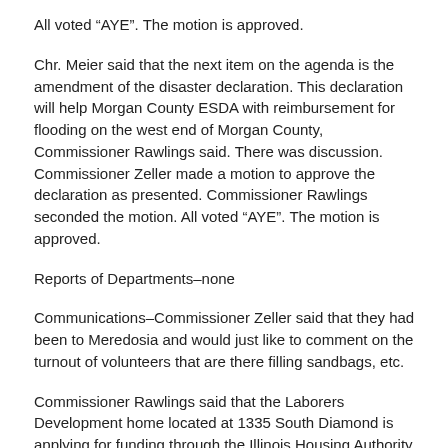All voted “AYE”. The motion is approved.
Chr. Meier said that the next item on the agenda is the amendment of the disaster declaration. This declaration will help Morgan County ESDA with reimbursement for flooding on the west end of Morgan County, Commissioner Rawlings said. There was discussion. Commissioner Zeller made a motion to approve the declaration as presented. Commissioner Rawlings seconded the motion. All voted “AYE”. The motion is approved.
Reports of Departments–none
Communications–Commissioner Zeller said that they had been to Meredosia and would just like to comment on the turnout of volunteers that are there filling sandbags, etc.
Commissioner Rawlings said that the Laborers Development home located at 1335 South Diamond is applying for funding through the Illinois Housing Authority for improvements to that facilty.